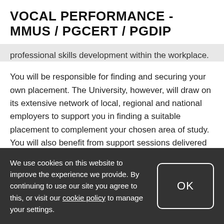VOCAL PERFORMANCE - MMUS / PGCERT / PGDIP
professional skills development within the workplace.
You will be responsible for finding and securing your own placement. The University, however, will draw on its extensive network of local, regional and national employers to support you in finding a suitable placement to complement your chosen area of study. You will also benefit from support sessions delivered by Careers+ as well as advice and guidance from your School.
Placements will only be confirmed following a
We use cookies on this website to improve the experience we provide. By continuing to use our site you agree to this, or visit our cookie policy to manage your settings.